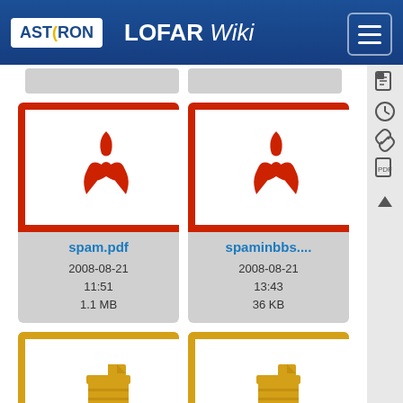ASTRON LOFAR Wiki
[Figure (screenshot): File card for spam.pdf showing red PDF icon, filename 'spam.pdf', date 2008-08-21 11:51, size 1.1 MB]
[Figure (screenshot): File card for spaminbbs.... showing red PDF icon, filename 'spaminbbs....', date 2008-08-21 13:43, size 36 KB]
[Figure (screenshot): File card for srm.tar.gz showing gold archive icon, filename 'srm.tar.gz']
[Figure (screenshot): File card for srmclient-2.... showing gold archive icon, filename 'srmclient-2....']